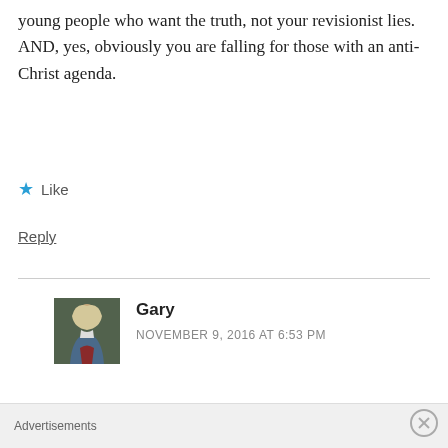young people who want the truth, not your revisionist lies. AND, yes, obviously you are falling for those with an anti-Christ agenda.
★ Like
Reply
Gary
NOVEMBER 9, 2016 AT 6:53 PM
[Figure (photo): Portrait of a man in historical clothing with a wig, resembling an 18th century painting]
My response:
If that is true, then your congregation is
Advertisements